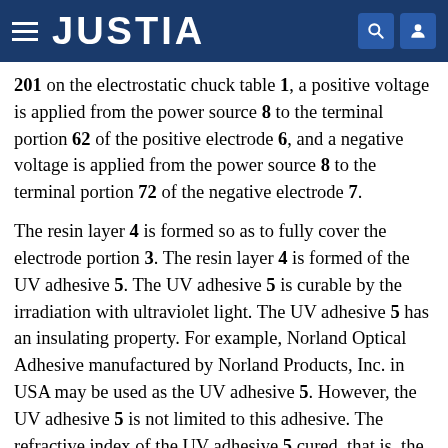JUSTIA
201 on the electrostatic chuck table 1, a positive voltage is applied from the power source 8 to the terminal portion 62 of the positive electrode 6, and a negative voltage is applied from the power source 8 to the terminal portion 72 of the negative electrode 7.
The resin layer 4 is formed so as to fully cover the electrode portion 3. The resin layer 4 is formed of the UV adhesive 5. The UV adhesive 5 is curable by the irradiation with ultraviolet light. The UV adhesive 5 has an insulating property. For example, Norland Optical Adhesive manufactured by Norland Products, Inc. in USA may be used as the UV adhesive 5. However, the UV adhesive 5 is not limited to this adhesive. The refractive index of the UV adhesive 5 cured, that is, the resin layer 4, is substantially equal to the refractive index of indium tin oxide forming the electrode portion 3. The wording